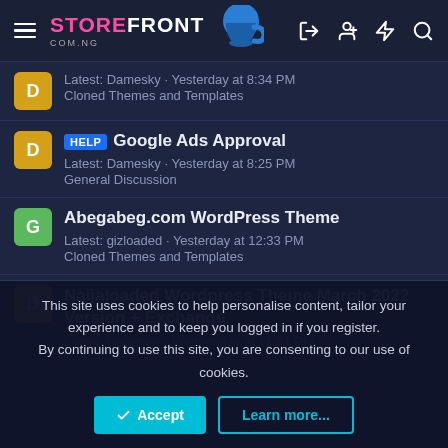STOREFRONT COM.NG
Latest: Damesky · Yesterday at 8:34 PM
Cloned Themes and Templates
HELP Google Ads Approval
Latest: Damesky · Yesterday at 8:25 PM
General Discussion
Abegabeg.com WordPress Theme
Latest: gizloaded · Yesterday at 12:33 PM
Cloned Themes and Templates
Naijaloaded Wordpress Theme March 2022 Version + Exchange
Latest: Damesky · Wednesday at 11:01 PM
This site uses cookies to help personalise content, tailor your experience and to keep you logged in if you register. By continuing to use this site, you are consenting to our use of cookies.